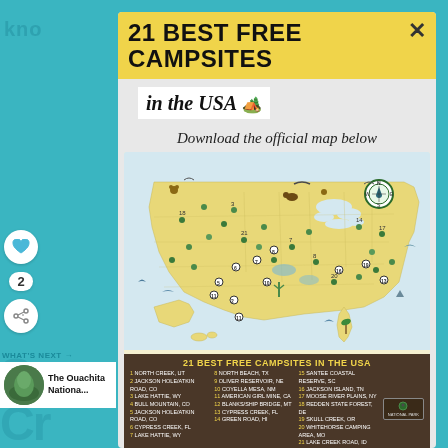21 BEST FREE CAMPSITES
in the USA 🏕️
Download the official map below
[Figure (map): Illustrated map of the USA showing 21 numbered free campsite locations across the country, with illustrated icons for wildlife, trees, and camping features. A compass rose is shown in the upper right area of the map. The map background is yellow/gold for land and white for water.]
21 BEST FREE CAMPSITES IN THE USA
1 NORTH CREEK, UT
2 JACKSON HOLE/ATKIN ROAD, CO
3 LAKE HATTIE, WY
8 NORTH BEACH, TX
9 OLIVER RESERVOIR, NE
10 COYELLA MESA, NM
11 AMERICAN GIRL MINE, CA
12 BLANKS/SHIP BRIDGE, MT
13 CYPRESS CREEK, FL
14 GREEN ROAD, HI
15 SANTEE COASTAL RESERVE, SC
16 JACKSON ISLAND, TN
17 MOOSE RIVER PLAINS, NY
18 REDDEN STATE FOREST, DE
19 SKULL CREEK, OR
20 WHITEHORSE CAMPING AREA, MO
21 LAKE CREEK ROAD, ID
WHAT'S NEXT →
The Ouachita National...